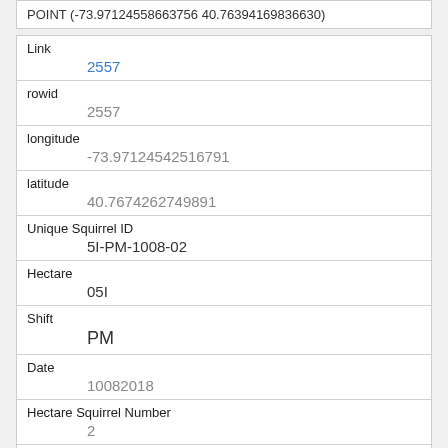POINT (-73.97124542516791 40.76394169836630)
| Field | Value |
| --- | --- |
| Link | 2557 |
| rowid | 2557 |
| longitude | -73.97124542516791 |
| latitude | 40.7674262749891 |
| Unique Squirrel ID | 5I-PM-1008-02 |
| Hectare | 05I |
| Shift | PM |
| Date | 10082018 |
| Hectare Squirrel Number | 2 |
| Age |  |